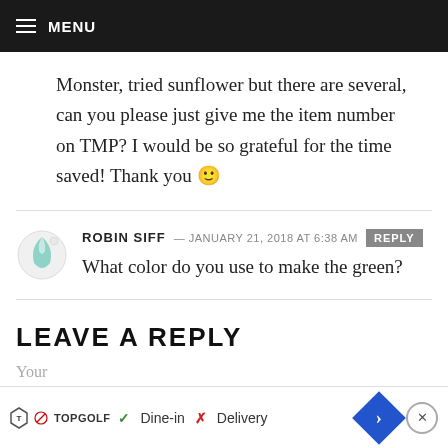MENU
Monster, tried sunflower but there are several, can you please just give me the item number on TMP? I would be so grateful for the time saved! Thank you 🙂
ROBIN SIFF — JANUARY 21, 2018 AT 6:38 AM REPLY
What color do you use to make the green?
LEAVE A REPLY
Your [email required]